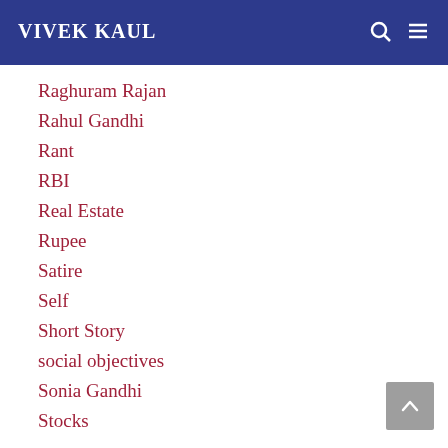VIVEK KAUL
Raghuram Rajan
Rahul Gandhi
Rant
RBI
Real Estate
Rupee
Satire
Self
Short Story
social objectives
Sonia Gandhi
Stocks